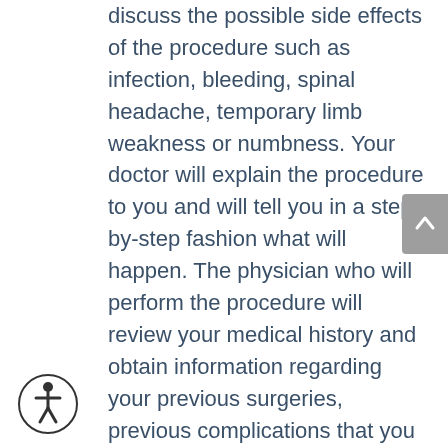discuss the possible side effects of the procedure such as infection, bleeding, spinal headache, temporary limb weakness or numbness. Your doctor will explain the procedure to you and will tell you in a step-by-step fashion what will happen. The physician who will perform the procedure will review your medical history and obtain information regarding your previous surgeries, previous complications that you might have had with anesthesia, other medical conditions such as bleeding disorders, cancer, infections, diabetes or glaucoma. They will also request previous imaging studies that you might have received such as x-rays or CT scans. You should also prepare some questions and concerns that you might have to ask during this time. Patients on certain medications such as blood thinners may be required to stop them several days before the